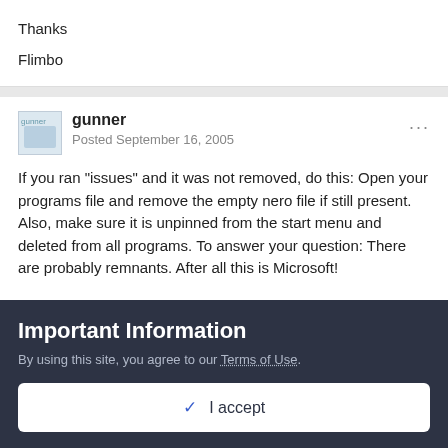Thanks
Flimbo
gunner
Posted September 16, 2005
If you ran "issues" and it was not removed, do this: Open your programs file and remove the empty nero file if still present. Also, make sure it is unpinned from the start menu and deleted from all programs. To answer your question: There are probably remnants. After all this is Microsoft!
Important Information
By using this site, you agree to our Terms of Use.
✓  I accept